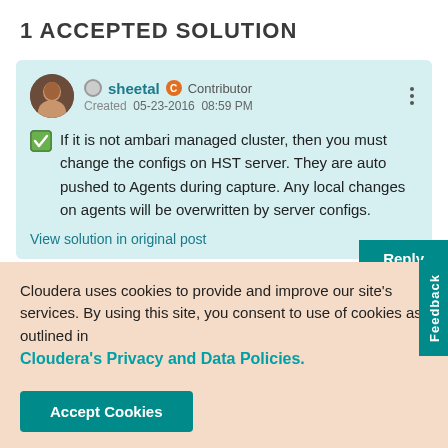1 ACCEPTED SOLUTION
If it is not ambari managed cluster, then you must change the configs on HST server. They are auto pushed to Agents during capture. Any local changes on agents will be overwritten by server configs.
View solution in original post
Cloudera uses cookies to provide and improve our site's services. By using this site, you consent to use of cookies as outlined in Cloudera's Privacy and Data Policies.